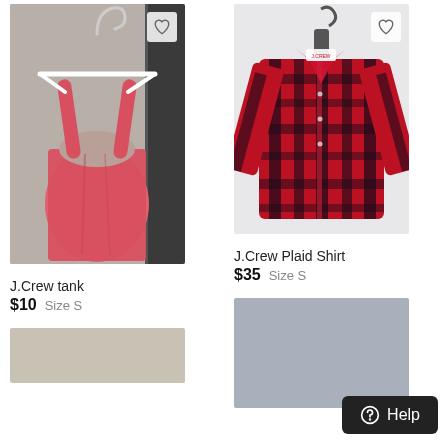[Figure (photo): Pink J.Crew tank top on white hanger against gray wall]
[Figure (photo): Red and black plaid J.Crew shirt on black hanger against white background]
J.Crew tank
$10  Size S
J.Crew Plaid Shirt
$35  Size S
[Figure (photo): Gray rectangle placeholder image]
[Figure (photo): Tan/beige rectangle placeholder image at bottom]
Help